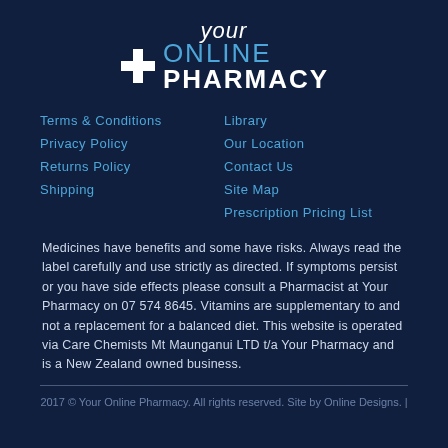[Figure (logo): Your Online Pharmacy logo with white plus cross, 'your' in script, 'ONLINE' in blue and 'PHARMACY' in bold white]
Terms & Conditions
Privacy Policy
Returns Policy
Shipping
Library
Our Location
Contact Us
Site Map
Prescription Pricing List
Medicines have benefits and some have risks. Always read the label carefully and use strictly as directed. If symptoms persist or you have side effects please consult a Pharmacist at Your Pharmacy on 07 574 8645. Vitamins are supplementary to and not a replacement for a balanced diet. This website is operated via Care Chemists Mt Maunganui LTD t/a Your Pharmacy and is a New Zealand owned business.
2017 © Your Online Pharmacy. All rights reserved. Site by Online Designs. |